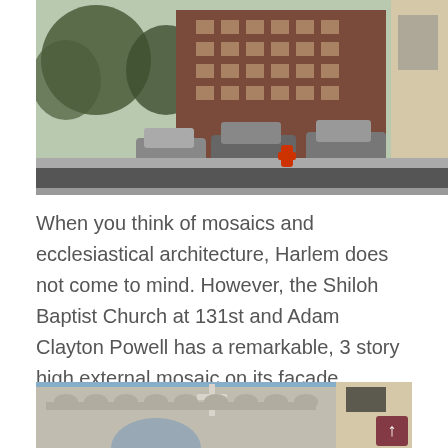[Figure (photo): Street scene in Harlem showing parked cars, trees, a red fire hydrant, and a brick apartment building in the background. On the right edge is the light-colored stone facade of a church building.]
When you think of mosaics and ecclesiastical architecture, Harlem does not come to mind. However, the Shiloh Baptist Church at 131st and Adam Clayton Powell has a remarkable, 3 story high external mosaic on its facade.
[Figure (photo): Looking up at the exterior of a church building with a large cross near the roofline. Arched windows are visible below. To the right is an adjacent building. A maroon scroll-up navigation button is visible in the lower right corner.]